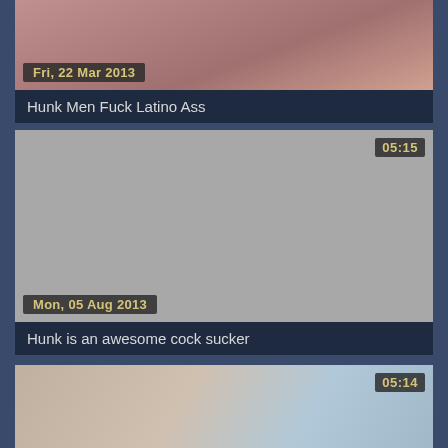[Figure (screenshot): Video thumbnail 1 with date badge 'Fri, 22 Mar 2013', cropped photo of people]
Hunk Men Fuck Latino Ass
[Figure (screenshot): Video thumbnail 2, gray placeholder, duration badge '05:15', date badge 'Mon, 05 Aug 2013']
Hunk is an awesome cock sucker
[Figure (screenshot): Video thumbnail 3, photo of two men, duration badge '05:14']